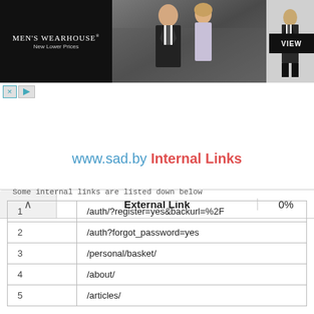[Figure (photo): Men's Wearhouse advertisement banner showing a couple dressed formally and a man in a suit with a VIEW button]
|  | External Link | 0% |
www.sad.by Internal Links
Some internal links are listed down below
| 1 | /auth/?register=yes&backurl=%2F |
| 2 | /auth?forgot_password=yes |
| 3 | /personal/basket/ |
| 4 | /about/ |
| 5 | /articles/ |